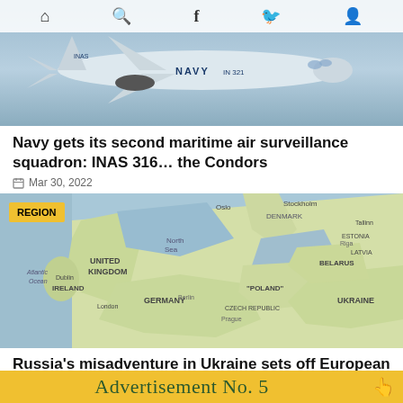[Figure (photo): Navy P-8 maritime patrol aircraft in flight with NAVY IN 321 markings, with navigation icon bar overlay at top]
Navy gets its second maritime air surveillance squadron: INAS 316… the Condors
Mar 30, 2022
[Figure (map): Map of Europe showing United Kingdom, Ireland, Germany, Poland, Ukraine, Belarus and surrounding countries. Yellow REGION badge in top left.]
Russia's misadventure in Ukraine sets off European re-armament
Mar 14, 2022
Advertisement No. 5